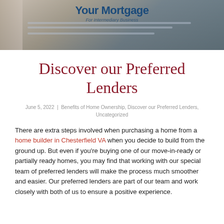[Figure (photo): Photo of a mortgage document with text 'Your Mortgage' and 'For Intermediary Business' visible, lying on a surface with an envelope partially visible on the left side.]
Discover our Preferred Lenders
June 5, 2022  |  Benefits of Home Ownership, Discover our Preferred Lenders, Uncategorized
There are extra steps involved when purchasing a home from a home builder in Chesterfield VA when you decide to build from the ground up. But even if you're buying one of our move-in-ready or partially ready homes, you may find that working with our special team of preferred lenders will make the process much smoother and easier. Our preferred lenders are part of our team and work closely with both of us to ensure a positive experience.